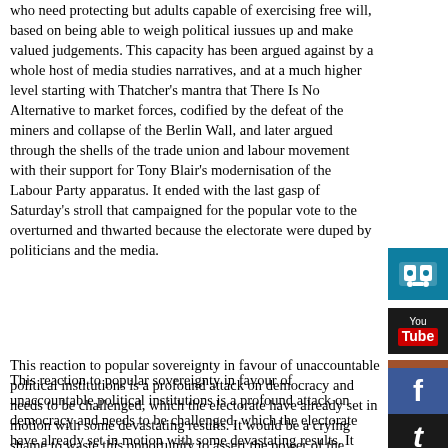who need protecting but adults capable of exercising free will, based on being able to weigh political iussues up and make valued judgements. This capacity has been argued against by a whole host of media studies narratives, and at a much higher level starting with Thatcher's mantra that There Is No Alternative to market forces, codified by the defeat of the miners and collapse of the Berlin Wall, and later argued through the shells of the trade union and labour movement with their support for Tony Blair's modernisation of the Labour Party apparatus. It ended with the last gasp of Saturday's stroll that campaigned for the popular vote to the overturned and thwarted because the electorate were duped by politicians and the media.
[Figure (other): SlideShare social media icon (teal/blue)]
[Figure (other): YouTube social media icon (dark background)]
This reaction to popular sovereignty in favour of unaccountable political institutions is a profound attack on democracy and needs to be challenged, which the electorate have already set in motion with some devastating results. It would be a crying shame to waste this opportunity to assert the power of the electorate against the snobbish and degrading put me downs the media are so fond of. There are issues of economy, the shell of British political institutions, the borders that need to be opened to non-EU citizens as well as those already having the right to work in the UK, but sovereignty of the electorate is central to this. RemaIN or Leave the EU, democrats should campaign to have Article 50 invoked
[Figure (other): Facebook social media icon (orange/brown background)]
[Figure (other): Facebook social media icon (blue background)]
[Figure (other): Twitter social media icon (dark background)]